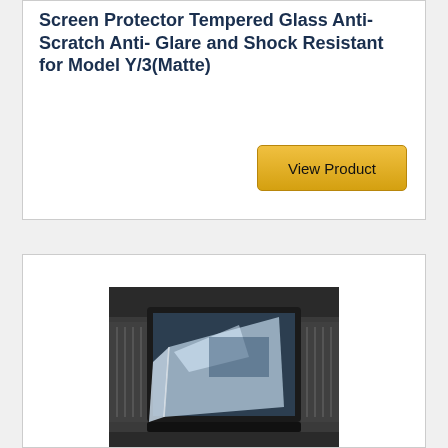Screen Protector Tempered Glass Anti-Scratch Anti- Glare and Shock Resistant for Model Y/3(Matte)
View Product
[Figure (photo): Photo of a car navigation/infotainment screen protector being applied to a vehicle touchscreen display. The screen protector is shown partially lifted off a car center console touchscreen inside a vehicle interior.]